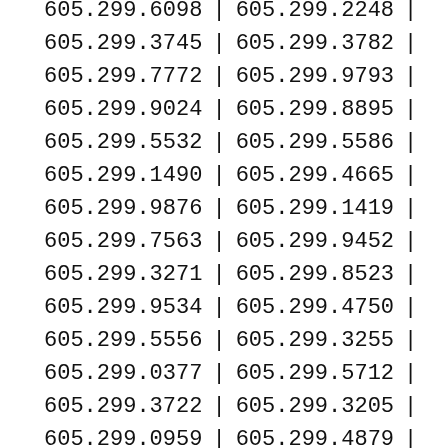| 605.299.6098 | | | 605.299.2248 | | |
| 605.299.3745 | | | 605.299.3782 | | |
| 605.299.7772 | | | 605.299.9793 | | |
| 605.299.9024 | | | 605.299.8895 | | |
| 605.299.5532 | | | 605.299.5586 | | |
| 605.299.1490 | | | 605.299.4665 | | |
| 605.299.9876 | | | 605.299.1419 | | |
| 605.299.7563 | | | 605.299.9452 | | |
| 605.299.3271 | | | 605.299.8523 | | |
| 605.299.9534 | | | 605.299.4750 | | |
| 605.299.5556 | | | 605.299.3255 | | |
| 605.299.0377 | | | 605.299.5712 | | |
| 605.299.3722 | | | 605.299.3205 | | |
| 605.299.0959 | | | 605.299.4879 | | |
| 605.299.2072 | | | 605.299.3858 | | |
| 605.299.7648 | | | 605.299.5455 | | |
| 605.299.9251 | | | 605.299.1063 | | |
| 605.299.3481 | | | 605.299.3696 | | |
| 605.299.0901 | | | 605.299.2782 | | |